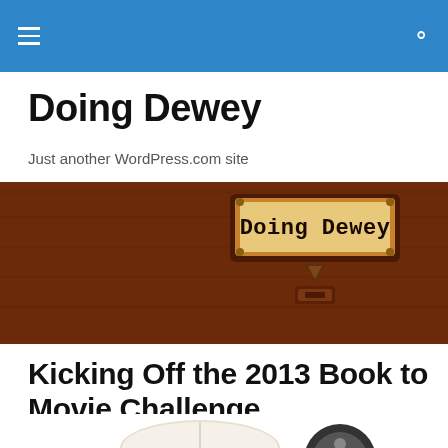Navigation menu and search
Doing Dewey
Just another WordPress.com site
[Figure (photo): Wooden card catalog drawer with a label reading 'Doing Dewey' in typewriter font on a tan/orange label, set against a dark brown wood background with metal hardware.]
Kicking Off the 2013 Book to Movie Challenge
[Figure (photo): Partial view of an open book and a film reel on a white background.]